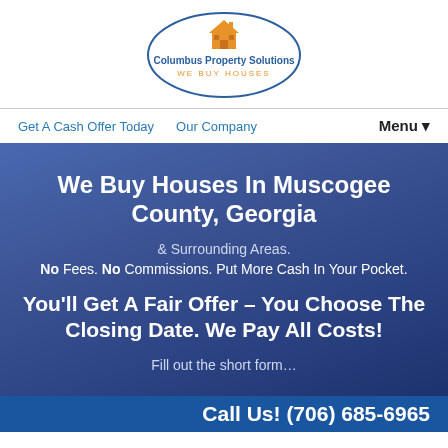[Figure (logo): Columbus Property Solutions logo: orange house icon above text 'Columbus Property Solutions' in blue bold, and 'WE BUY HOUSES' in orange spaced caps, all inside a blue oval border.]
Get A Cash Offer Today   Our Company   Menu ▾
We Buy Houses In Muscogee County, Georgia
& Surrounding Areas.
No Fees. No Commissions. Put More Cash In Your Pocket.
You'll Get A Fair Offer – You Choose The Closing Date. We Pay All Costs!
Fill out the short form…
Call Us! (706) 685-6965